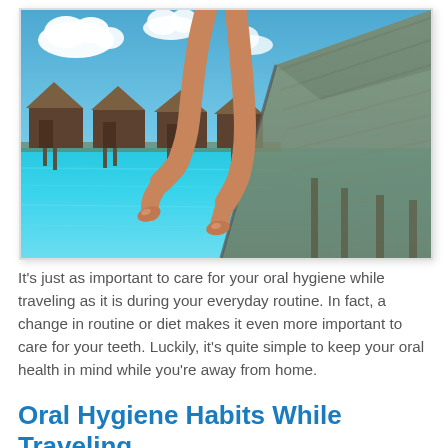[Figure (photo): A person's legs dangling off a wooden pier/dock over crystal clear turquoise water in a tropical resort setting, with overwater bungalows visible in the background under a bright blue sky with clouds.]
It's just as important to care for your oral hygiene while traveling as it is during your everyday routine. In fact, a change in routine or diet makes it even more important to care for your teeth. Luckily, it's quite simple to keep your oral health in mind while you're away from home.
Oral Hygiene Habits While Traveling